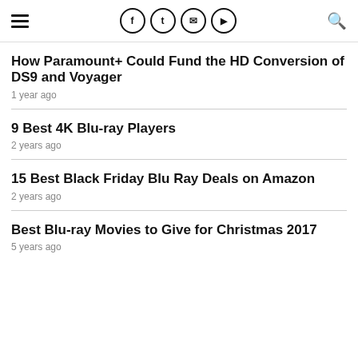Navigation header with hamburger menu, social icons (Facebook, Twitter, Email, Flipboard), and search icon
How Paramount+ Could Fund the HD Conversion of DS9 and Voyager
1 year ago
9 Best 4K Blu-ray Players
2 years ago
15 Best Black Friday Blu Ray Deals on Amazon
2 years ago
Best Blu-ray Movies to Give for Christmas 2017
5 years ago